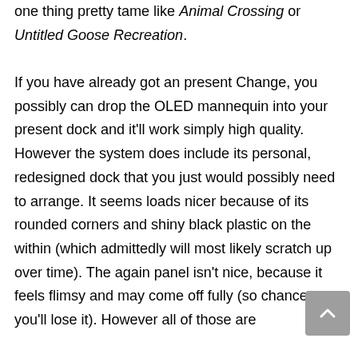one thing pretty tame like Animal Crossing or Untitled Goose Recreation.

If you have already got an present Change, you possibly can drop the OLED mannequin into your present dock and it'll work simply high quality. However the system does include its personal, redesigned dock that you just would possibly need to arrange. It seems loads nicer because of its rounded corners and shiny black plastic on the within (which admittedly will most likely scratch up over time). The again panel isn't nice, because it feels flimsy and may come off fully (so chances are you'll lose it). However all of those are